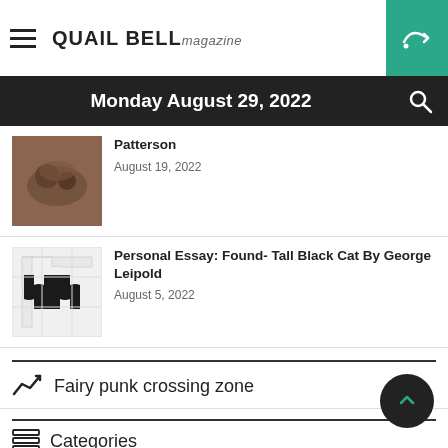QUAIL BELL magazine
Monday August 29, 2022
Patterson
August 19, 2022
Personal Essay: Found- Tall Black Cat By George Leipold
August 5, 2022
Fairy punk crossing zone
Categories
All  Arts & Culture  Beauty & Fashion  Essay  Lifestyle